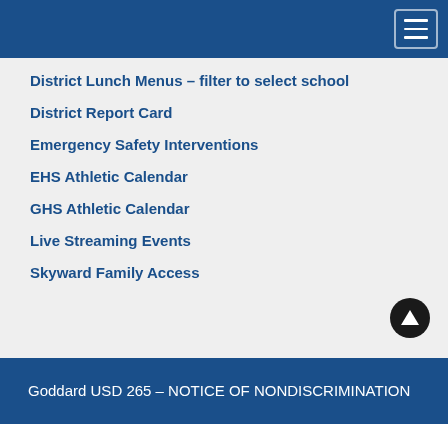District Lunch Menus – filter to select school
District Report Card
Emergency Safety Interventions
EHS Athletic Calendar
GHS Athletic Calendar
Live Streaming Events
Skyward Family Access
Goddard USD 265 – NOTICE OF NONDISCRIMINATION